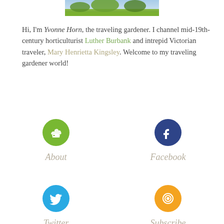[Figure (photo): Partial garden photo showing green foliage and lawn at the top of the page]
Hi, I'm Yvonne Horn, the traveling gardener. I channel mid-19th-century horticulturist Luther Burbank and intrepid Victorian traveler, Mary Henrietta Kingsley. Welcome to my traveling gardener world!
[Figure (infographic): Green circle icon with watering can symbol, labeled 'About']
[Figure (infographic): Navy blue circle icon with Facebook 'f' symbol, labeled 'Facebook']
[Figure (infographic): Sky blue circle icon with Twitter bird symbol, labeled 'Twitter']
[Figure (infographic): Orange circle icon with RSS/subscribe symbol, labeled 'Subscribe']